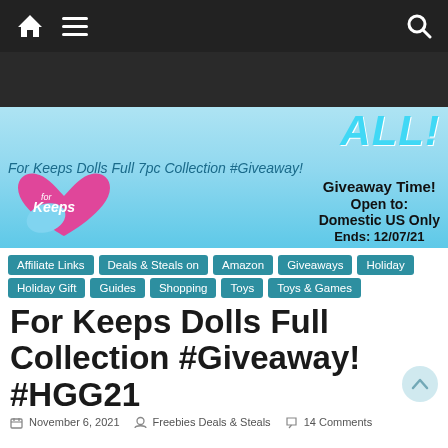Navigation bar with home, menu, and search icons
[Figure (illustration): For Keeps Dolls Full 7pc Collection Giveaway banner showing colorful doll figures, the For Keeps heart logo, and text: Giveaway Time! Open to: Domestic US Only Ends: 12/07/21]
Affiliate Links
Deals & Steals on Amazon
Giveaways
Holiday
Holiday Gift Guides
Shopping
Toys
Toys & Games
For Keeps Dolls Full Collection #Giveaway! #HGG21
November 6, 2021  Freebies Deals & Steals  14 Comments